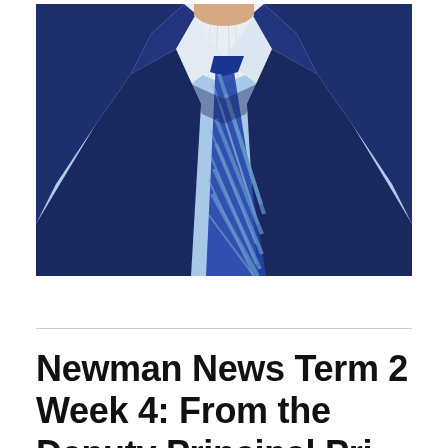[Figure (photo): Close-up photograph of a person from the neck/chest down wearing a navy blue school blazer, white collared shirt, and a navy blue striped tie with thin light blue diagonal stripes. The background is light blue.]
Newman News Term 2 Week 4: From the Deputy Principal Pri...